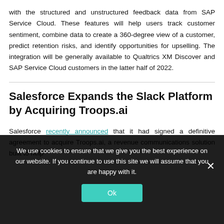with the structured and unstructured feedback data from SAP Service Cloud. These features will help users track customer sentiment, combine data to create a 360-degree view of a customer, predict retention risks, and identify opportunities for upselling. The integration will be generally available to Qualtrics XM Discover and SAP Service Cloud customers in the latter half of 2022.
Salesforce Expands the Slack Platform by Acquiring Troops.ai
Salesforce recently announced that it had signed a definitive agreement to acquire Troops.ai, a revenue communications solution built to help
We use cookies to ensure that we give you the best experience on our website. If you continue to use this site we will assume that you are happy with it.